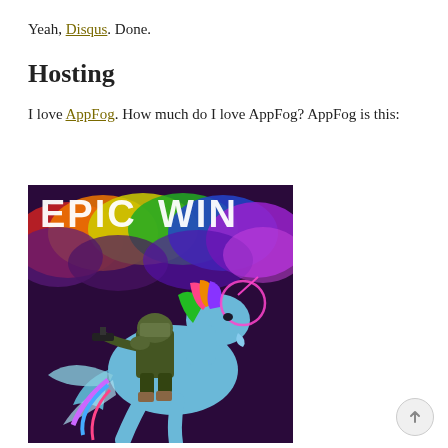Yeah, Disqus. Done.
Hosting
I love AppFog. How much do I love AppFog? AppFog is this:
[Figure (illustration): Colorful fantasy illustration with 'EPIC WIN' text at top, showing a blue winged unicorn with rainbow mane rearing up, ridden by an armored figure holding a gun, against a purple background with rainbow-colored clouds.]